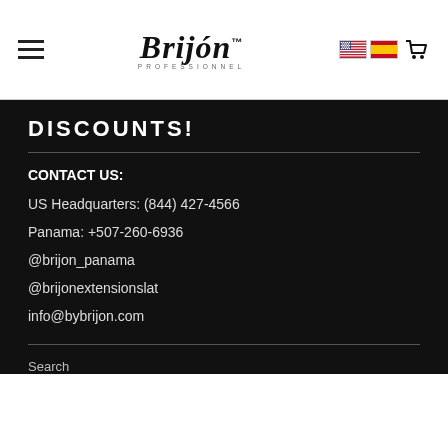[Figure (logo): Brijon Professionnel logo with hamburger menu icon on left and flag icons with cart on right]
DISCOUNTS!
CONTACT US:
US Headquarters:  (844) 427-4566
Panama:  +507-260-6936
@brijon_panama
@brijonextensionslat
info@bybrijon.com
Search